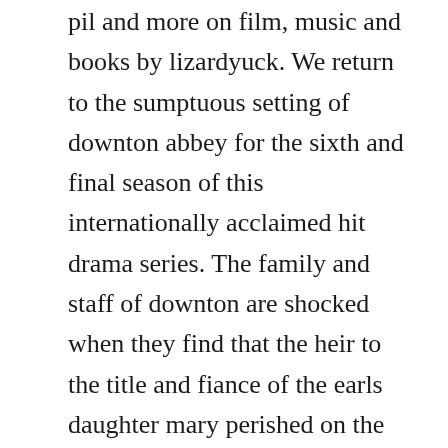pil and more on film, music and books by lizardyuck. We return to the sumptuous setting of downton abbey for the sixth and final season of this internationally acclaimed hit drama series. The family and staff of downton are shocked when they find that the heir to the title and fiance of the earls daughter mary perished on the titanic and the earl hires a crippled army comrade as valet. The series first aired on itv in the united kingdom on 26 september 2010, and in the united states on pbs, which supported production of the series as part of its masterpiece classic anthology, on